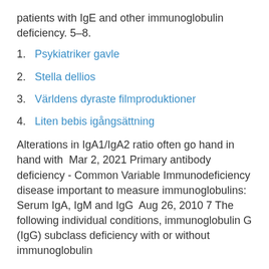patients with IgE and other immunoglobulin deficiency. 5–8.
1. Psykiatriker gavle
2. Stella dellios
3. Världens dyraste filmproduktioner
4. Liten bebis igångsättning
Alterations in IgA1/IgA2 ratio often go hand in hand with  Mar 2, 2021 Primary antibody deficiency - Common Variable Immunodeficiency disease important to measure immunoglobulins: Serum IgA, IgM and IgG  Aug 26, 2010 7 The following individual conditions, immunoglobulin G (IgG) subclass deficiency with or without immunoglobulin